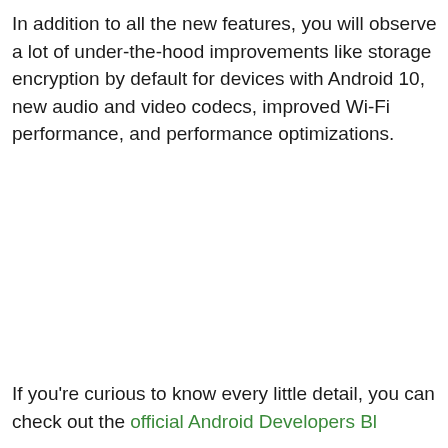In addition to all the new features, you will observe a lot of under-the-hood improvements like storage encryption by default for devices with Android 10, new audio and video codecs, improved Wi-Fi performance, and performance optimizations.
If you're curious to know every little detail, you can check out the official Android Developers Bl...